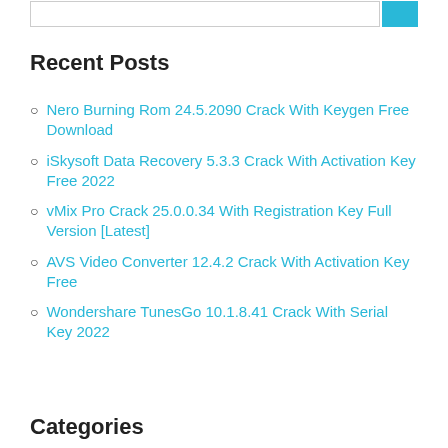Recent Posts
Nero Burning Rom 24.5.2090 Crack With Keygen Free Download
iSkysoft Data Recovery 5.3.3 Crack With Activation Key Free 2022
vMix Pro Crack 25.0.0.34 With Registration Key Full Version [Latest]
AVS Video Converter 12.4.2 Crack With Activation Key Free
Wondershare TunesGo 10.1.8.41 Crack With Serial Key 2022
Categories